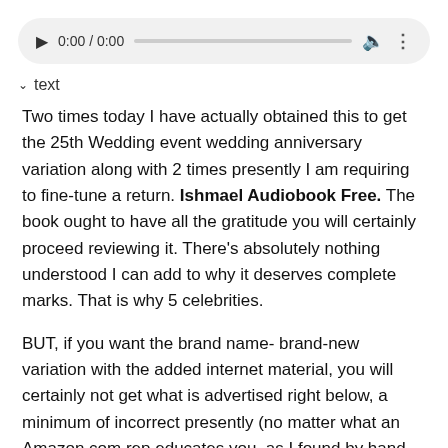[Figure (other): Audio player UI with play button, 0:00 / 0:00 time display, progress bar, volume icon, and more options icon]
∨ text
Two times today I have actually obtained this to get the 25th Wedding event wedding anniversary variation along with 2 times presently I am requiring to fine-tune a return. Ishmael Audiobook Free. The book ought to have all the gratitude you will certainly proceed reviewing it. There's absolutely nothing understood I can add to why it deserves complete marks. That is why 5 celebrities.
BUT, if you want the brand name- brand-new variation with the added internet material, you will certainly not get what is advertised right below, a minimum of incorrect presently (no matter what an Amazon.com rep educates you, as I found by hand lately).